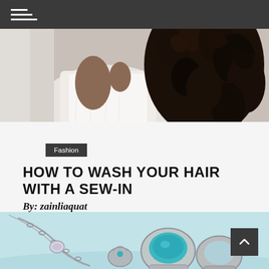Navigation menu (hamburger icon)
[Figure (photo): Close-up of a person in a white top with long curly dark hair, shot from behind/side]
Fashion
HOW TO WASH YOUR HAIR WITH A SEW-IN
By: zainliaquat
No one can deny that the natural hair industry has grown tremendously over the years, with more and more people choosing to use their natural ....
[Figure (photo): Jewelry items including a necklace and turquoise rings on a light blue background]